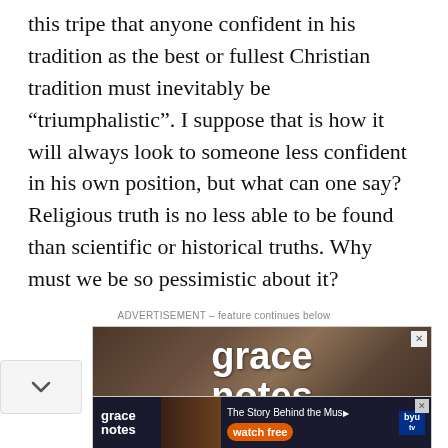this tripe that anyone confident in his tradition as the best or fullest Christian tradition must inevitably be “triumphalistic”. I suppose that is how it will always look to someone less confident in his own position, but what can one say? Religious truth is no less able to be found than scientific or historical truths. Why must we be so pessimistic about it?
ADVERTISEMENT – feature continues below
[Figure (other): Advertisement banner for 'Grace Notes' program showing the title in large white text on a dark wood-toned background]
[Figure (other): Bottom advertisement banner for 'Grace Notes' showing 'The Story Behind the Music - watch free' on BYUtv with photos of musicians]